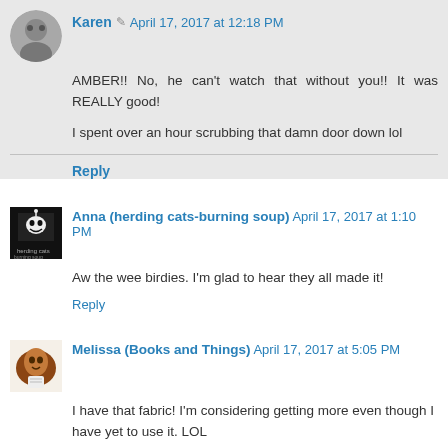Karen · April 17, 2017 at 12:18 PM
AMBER!! No, he can't watch that without you!! It was REALLY good!
I spent over an hour scrubbing that damn door down lol
Reply
Anna (herding cats-burning soup) April 17, 2017 at 1:10 PM
Aw the wee birdies. I'm glad to hear they all made it!
Reply
Melissa (Books and Things) April 17, 2017 at 5:05 PM
I have that fabric! I'm considering getting more even though I have yet to use it. LOL